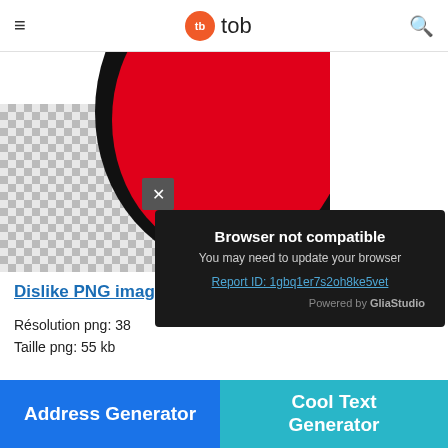≡  tb tob  🔍
[Figure (illustration): Partial view of a red and black dislike/thumbs-down PNG image on a transparent (checkered) background]
[Figure (screenshot): Browser not compatible popup overlay with close (X) button, text 'Browser not compatible', 'You may need to update your browser', report ID link, and 'Powered by GliaStudio' footer]
Dislike PNG imag…
Résolution png: 38…
Taille png: 55 kb
PNG Télécharger
Address Generator
Cool Text Generator